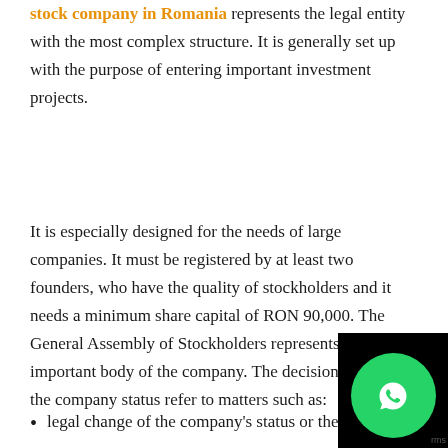stock company in Romania represents the legal entity with the most complex structure. It is generally set up with the purpose of entering important investment projects.
It is especially designed for the needs of large companies. It must be registered by at least two founders, who have the quality of stockholders and it needs a minimum share capital of RON 90,000. The General Assembly of Stockholders represents the most important body of the company. The decisions regarding the company status refer to matters such as:
legal change of the company's status or the